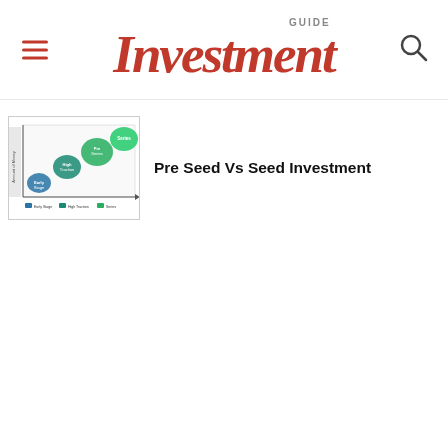Investment GUIDE
[Figure (other): Thumbnail image showing a startup investment stage diagram with colored bubbles (blue, teal, green) arranged diagonally on a chart with axes, representing stages like Idea, Early Traction, High Traction, Series, with a legend at the bottom.]
Pre Seed Vs Seed Investment